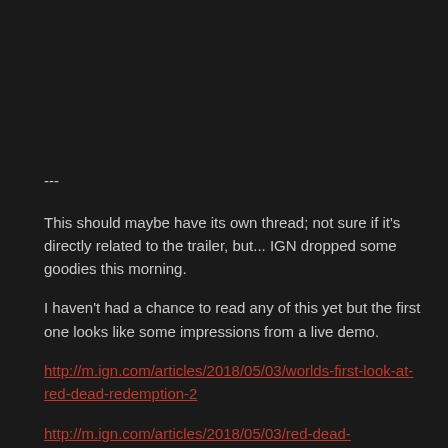---
This should maybe have its own thread; not sure if it's directly related to the trailer, but... IGN dropped some goodies this morning.
I haven't had a chance to read any of this yet but the first one looks like some impressions from a live demo.
http://m.ign.com/articles/2018/05/03/worlds-first-look-at-red-dead-redemption-2
http://m.ign.com/articles/2018/05/03/red-dead-redemption-2-who-is-arthur-morgan
http://m.ign.com/articles/2018/05/03/why-red-dead-redemption-2-is-more-than-just-a-prequel-2
http://m.ign.com/articles/2018/05/03/analysis-every-secret-in-red-...